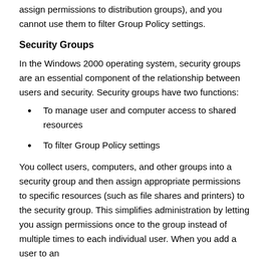assign permissions to distribution groups), and you cannot use them to filter Group Policy settings.
Security Groups
In the Windows 2000 operating system, security groups are an essential component of the relationship between users and security. Security groups have two functions:
To manage user and computer access to shared resources
To filter Group Policy settings
You collect users, computers, and other groups into a security group and then assign appropriate permissions to specific resources (such as file shares and printers) to the security group. This simplifies administration by letting you assign permissions once to the group instead of multiple times to each individual user. When you add a user to an